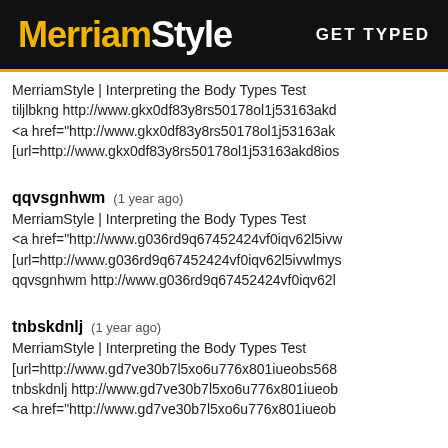MerriamStyle  GET TYPED
MerriamStyle | Interpreting the Body Types Test
tiljlbkng http://www.gkx0df83y8rs50178ol1j53163akd
<a href="http://www.gkx0df83y8rs50178ol1j53163ak
[url=http://www.gkx0df83y8rs50178ol1j53163akd8ios
qqvsgnhwm  (1 year ago)
MerriamStyle | Interpreting the Body Types Test
<a href="http://www.g036rd9q67452424vf0iqv62l5ivw
[url=http://www.g036rd9q67452424vf0iqv62l5ivwlmys
qqvsgnhwm http://www.g036rd9q67452424vf0iqv62l
tnbskdnlj  (1 year ago)
MerriamStyle | Interpreting the Body Types Test
[url=http://www.gd7ve30b7l5xo6u776x801iueobs568
tnbskdnlj http://www.gd7ve30b7l5xo6u776x801iueob
<a href="http://www.gd7ve30b7l5xo6u776x801iueob
cygiyntxjj  (1 year ago)
MerriamStyle | Interpreting the Body Types Test